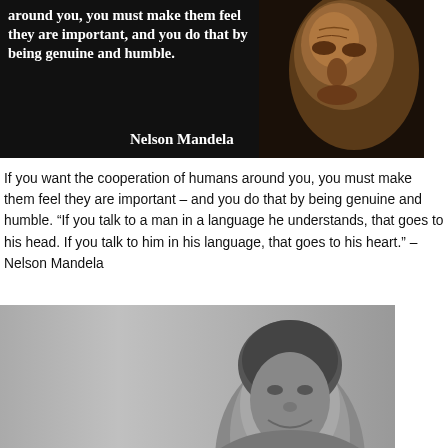[Figure (photo): Dark background image with a bold white quote text on the left and a close-up portrait of Nelson Mandela on the right. Text reads: 'around you, you must make them feel they are important, and you do that by being genuine and humble.' with attribution 'Nelson Mandela'.]
If you want the cooperation of humans around you, you must make them feel they are important – and you do that by being genuine and humble. “If you talk to a man in a language he understands, that goes to his head. If you talk to him in his language, that goes to his heart.” – Nelson Mandela
[Figure (photo): Black and white portrait photograph of a person (likely Maya Angelou) smiling, with a light gray background.]